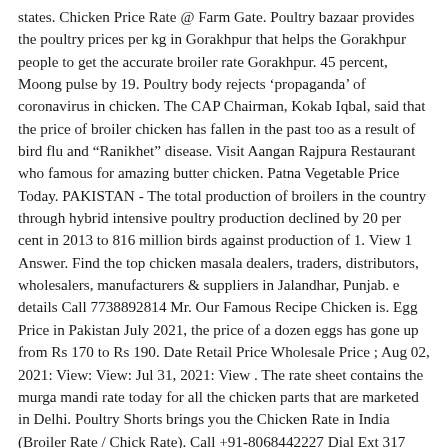states. Chicken Price Rate @ Farm Gate. Poultry bazaar provides the poultry prices per kg in Gorakhpur that helps the Gorakhpur people to get the accurate broiler rate Gorakhpur. 45 percent, Moong pulse by 19. Poultry body rejects 'propaganda' of coronavirus in chicken. The CAP Chairman, Kokab Iqbal, said that the price of broiler chicken has fallen in the past too as a result of bird flu and "Ranikhet" disease. Visit Aangan Rajpura Restaurant who famous for amazing butter chicken. Patna Vegetable Price Today. PAKISTAN - The total production of broilers in the country through hybrid intensive poultry production declined by 20 per cent in 2013 to 816 million birds against production of 1. View 1 Answer. Find the top chicken masala dealers, traders, distributors, wholesalers, manufacturers & suppliers in Jalandhar, Punjab. e details Call 7738892814 Mr. Our Famous Recipe Chicken is. Egg Price in Pakistan July 2021, the price of a dozen eggs has gone up from Rs 170 to Rs 190. Date Retail Price Wholesale Price ; Aug 02, 2021: View: View: Jul 31, 2021: View . The rate sheet contains the murga mandi rate today for all the chicken parts that are marketed in Delhi. Poultry Shorts brings you the Chicken Rate in India (Broiler Rate / Chick Rate). Call +91-8068442227 Dial Ext 317 when connected. The world's only country to register a double-digit growth in 2021. India poultry rate App helps you track poultry rates in major Indian cities. 5 billion. The chicken rates per kg Lucknow may vary from 80 – 110. The average cost of chicken feed: Rs 32/kg. The rate of dressed chicken which fell to Rs 120